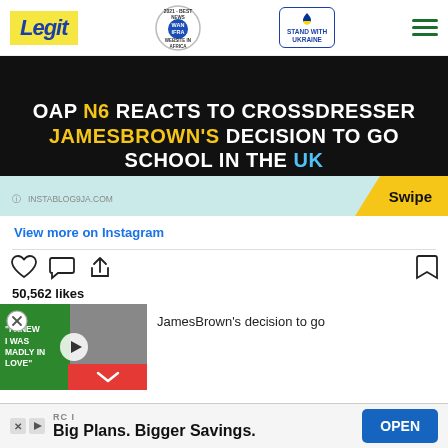Legit | WAN IFRA 2021 Best News Website in Africa | Stand with Ukraine
[Figure (screenshot): Headline banner on black background: OAP N6 REACTS TO CROSSDRESSER JAMESBROWN'S DECISION TO GO SCHOOL IN THE UK, with Swipe label on teal/star graphic]
View more on Instagram
[Figure (screenshot): Instagram action icons: heart, comment, share, bookmark]
50,562 likes
[Figure (screenshot): Video thumbnail with green box 'I KNEW I WAS MADLY IN LOVE' and play button, with text: JamesBrown's decision to go, and red chevron button at bottom]
RC I
Big Plans. Bigger Savings.
OPEN